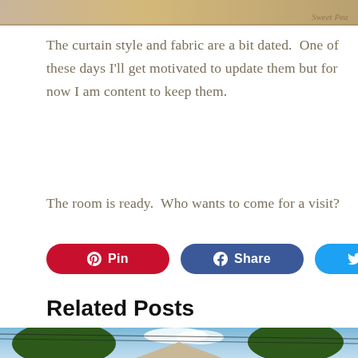[Figure (photo): Top portion of a curtain/interior photo with 'Sweet Pea' watermark in bottom right corner]
The curtain style and fabric are a bit dated.  One of these days I'll get motivated to update them but for now I am content to keep them.
The room is ready.  Who wants to come for a visit?
[Figure (infographic): Social sharing buttons: Pin (red/Pinterest), Share (blue/Facebook), Tweet (light blue/Twitter)]
Related Posts
[Figure (photo): Outdoor photo showing large green trees flanking a house rooftop with blue sky and clouds in background]